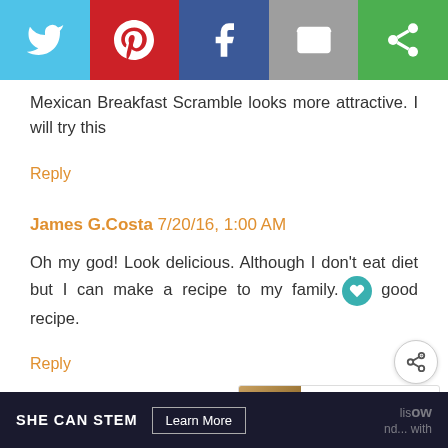[Figure (infographic): Social share bar with Twitter (blue), Pinterest (red), Facebook (dark blue), Email (grey), and a green share icon button]
Mexican Breakfast Scramble looks more attractive. I will try this
Reply
James G.Costa 7/20/16, 1:00 AM
Oh my god! Look delicious. Although I don't eat diet but I can make a recipe to my family. good recipe.
Reply
Jeff M. Feshour 7/27/16, 10:33 AM
[Figure (infographic): WHAT'S NEXT arrow label with thumbnail image and text 'Sausage Gravy...']
[Figure (infographic): Ad banner: SHE CAN STEM with Learn More button]